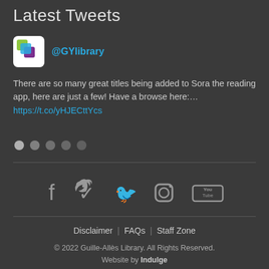Latest Tweets
@GYlibrary
There are so many great titles being added to Sora the reading app, here are just a few! Have a browse here:… https://t.co/yHJECttYcs
[Figure (other): Five pagination dots, first one lighter (active)]
[Figure (other): Social media icons: Facebook, Twitter, Instagram, YouTube]
Disclaimer | FAQs | Staff Zone
© 2022 Guille-Allès Library. All Rights Reserved.
Website by Indulge